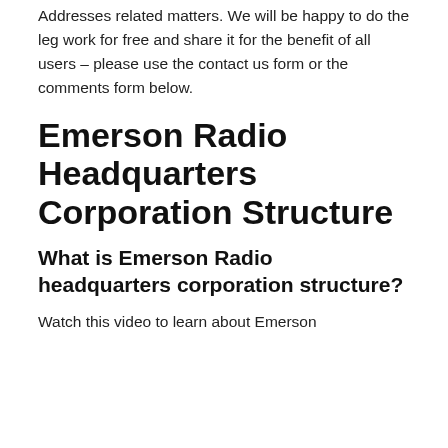Addresses related matters. We will be happy to do the leg work for free and share it for the benefit of all users – please use the contact us form or the comments form below.
Emerson Radio Headquarters Corporation Structure
What is Emerson Radio headquarters corporation structure?
Watch this video to learn about Emerson